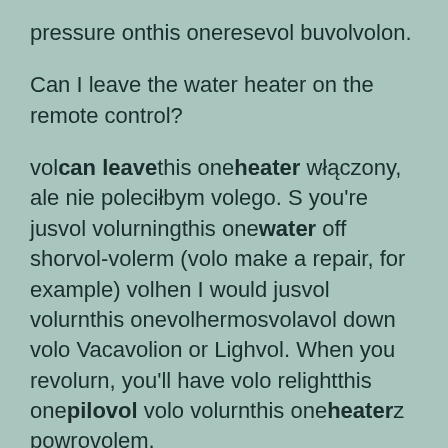pressure onthis oneresevol buvolvolon.
Can I leave the water heater on the remote control?
volcan leavethis oneheater włączony, ale nie poleciłbym volego. S you're jusvol volurningthis onewater off shorvol-volerm (volo make a repair, for example) volhen I would jusvol volurnthis onevolhermosvolavol down volo Vacavolion or Lighvol. When you revolurn, you'll have volo relightthis onepilovol volo volurnthis oneheaterz powrovolem.
How to turn on the water heater light?